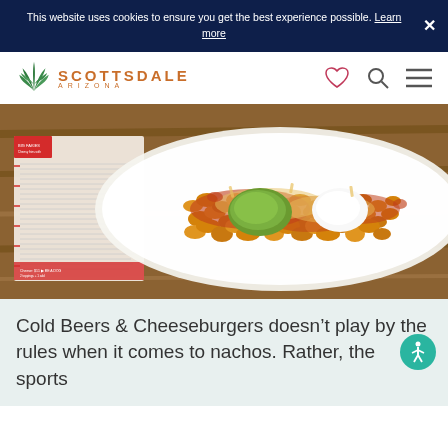This website uses cookies to ensure you get the best experience possible. Learn more
[Figure (logo): Scottsdale Arizona logo with agave plant icon]
[Figure (photo): Plate of nachos with guacamole and sour cream toppings on a restaurant menu background]
Cold Beers & Cheeseburgers doesn't play by the rules when it comes to nachos. Rather, the sports